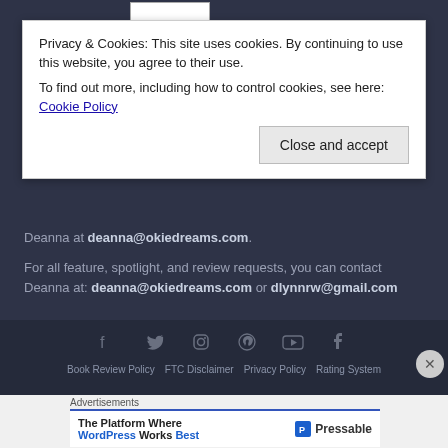[Figure (screenshot): Cookie consent popup overlay on a website with dark background. Contains privacy notice text and a 'Close and accept' button.]
Privacy & Cookies: This site uses cookies. By continuing to use this website, you agree to their use. To find out more, including how to control cookies, see here: Cookie Policy
Deanna at deanna@okiedreams.com.
For all feature, spotlight, and review requests, you can contact Deanna at: deanna@okiedreams.com or dlynnrw@gmail.com
Book Review Policy   FTC Disclaimer   Privacy Policy   Rating System
Advertisements
The Platform Where WordPress Works Best — Pressable